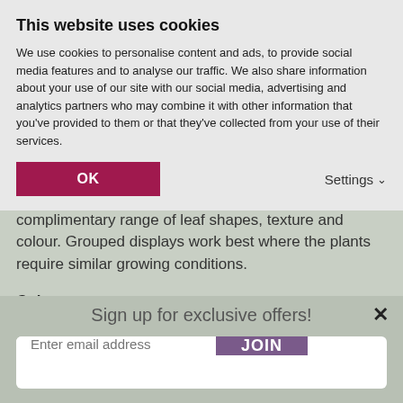This website uses cookies
We use cookies to personalise content and ads, to provide social media features and to analyse our traffic. We also share information about your use of our site with our social media, advertising and analytics partners who may combine it with other information that you've provided to them or that they've collected from your use of their services.
OK
Settings ∨
display. Aim for a complimentary range of leaf shapes, texture and colour. Grouped displays work best where the plants require similar growing conditions.
Colour:
Colourful house plants are particularly useful for adding a contrast
Sign up for exclusive offers!
Enter email address
JOIN